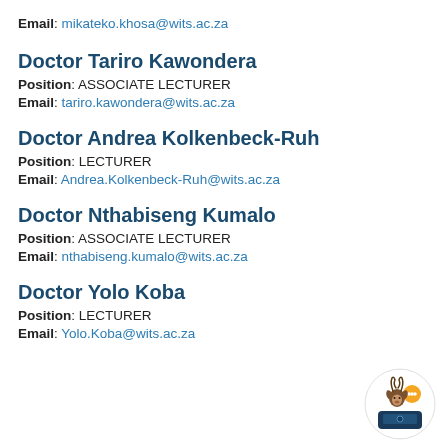Email: mikateko.khosa@wits.ac.za
Doctor Tariro Kawondera
Position: ASSOCIATE LECTURER
Email: tariro.kawondera@wits.ac.za
Doctor Andrea Kolkenbeck-Ruh
Position: LECTURER
Email: Andrea.Kolkenbeck-Ruh@wits.ac.za
Doctor Nthabiseng Kumalo
Position: ASSOCIATE LECTURER
Email: nthabiseng.kumalo@wits.ac.za
Doctor Yolo Koba
Position: LECTURER
Email: Yolo.Koba@wits.ac.za
[Figure (logo): Wits University chatbot logo: a kudu head with an orange speech bubble, sitting above a dark blue laptop icon, in a white circle]